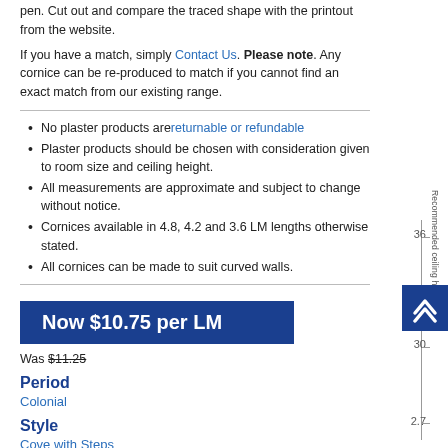pen. Cut out and compare the traced shape with the printout from the website.
If you have a match, simply Contact Us. Please note. Any cornice can be re-produced to match if you cannot find an exact match from our existing range.
No plaster products are returnable or refundable
Plaster products should be chosen with consideration given to room size and ceiling height.
All measurements are approximate and subject to change without notice.
Cornices available in 4.8, 4.2 and 3.6 LM lengths otherwise stated.
All cornices can be made to suit curved walls.
Now $10.75 per LM
Was $11.25
Period
Colonial
Style
Cove with Steps
Ceiling: 110